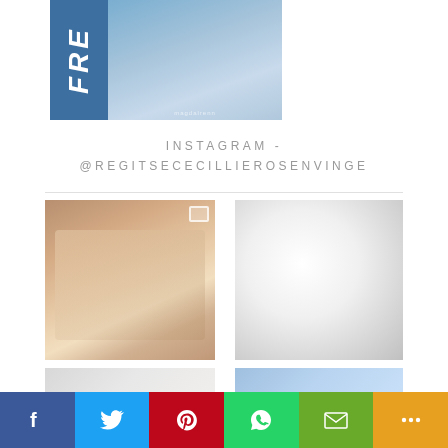[Figure (photo): Top banner image showing partial text 'FRE' on blue background with a woman in denim shirt holding a laptop]
INSTAGRAM - @REGITSECECILLIEROSENVINGE
[Figure (photo): Woman with long hair sitting on brown leather sofa working on laptop, smiling]
[Figure (photo): Close-up of white silk or satin bed sheets]
[Figure (photo): Partial bottom-left photo, cut off]
[Figure (photo): Partial bottom-right photo with blue tones, cut off]
Facebook | Twitter | Pinterest | WhatsApp | Email | Share